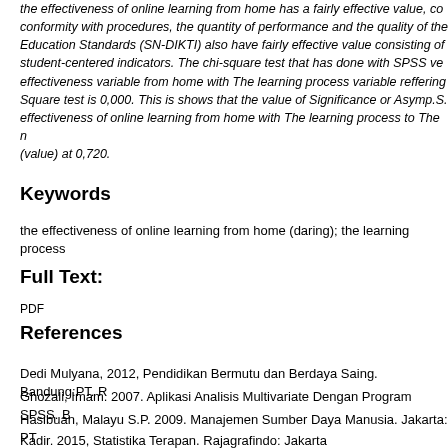the effectiveness of online learning from home has a fairly effective value, conformity with procedures, the quantity of performance and the quality of the Education Standards (SN-DIKTI) also have fairly effective value consisting of student-centered indicators. The chi-square test that has done with SPSS effectiveness variable from home with The learning process variable reffering Square test is 0,000. This is shows that the value of Significance or Asymp.S effectiveness of online learning from home with The learning process to The (value) at 0,720.
Keywords
the effectiveness of online learning from home (daring); the learning process
Full Text:
PDF
References
Dedi Mulyana, 2012, Pendidikan Bermutu dan Berdaya Saing. Bandung:PT. R
Ghozali, Imam. 2007. Aplikasi Analisis Multivariate Dengan Program SPSS. B
Hasibuan, Malayu S.P. 2009. Manajemen Sumber Daya Manusia. Jakarta: PT
Kadir. 2015, Statistika Terapan. Rajagrafindo: Jakarta